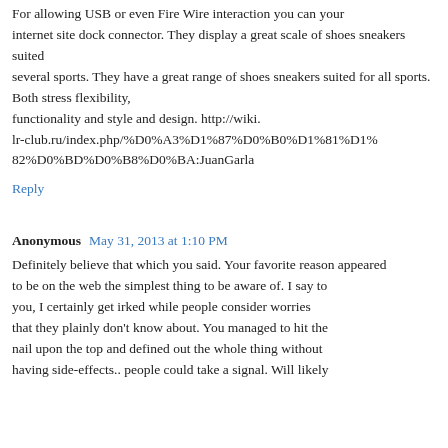For allowing USB or even Fire Wire interaction you can your internet site dock connector. They display a great scale of shoes sneakers suited several sports. They have a great range of shoes sneakers suited for all sports. Both stress flexibility, functionality and style and design. http://wiki.lr-club.ru/index.php/%D0%A3%D1%87%D0%B0%D1%81%D1%82%D0%BD%D0%B8%D0%BA:JuanGarla
Reply
Anonymous  May 31, 2013 at 1:10 PM
Definitely believe that which you said. Your favorite reason appeared to be on the web the simplest thing to be aware of. I say to you, I certainly get irked while people consider worries that they plainly don't know about. You managed to hit the nail upon the top and defined out the whole thing without having side-effects.. people could take a signal. Will likely